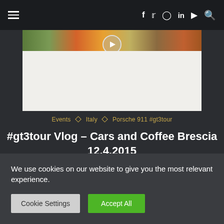≡  f  Twitter  Instagram  in  YouTube  🔍
[Figure (photo): Hero image of a car event partially visible with a play button overlay, showing colorful vehicles at the top and a white/light area below]
Events ◇ Italy ◇ Porsche 911 #gt3tour
#gt3tour Vlog – Cars and Coffee Brescia 12.4.2015
April 07, 2015
We use cookies on our website to give you the most relevant experience.
Cookie Settings  Accept All